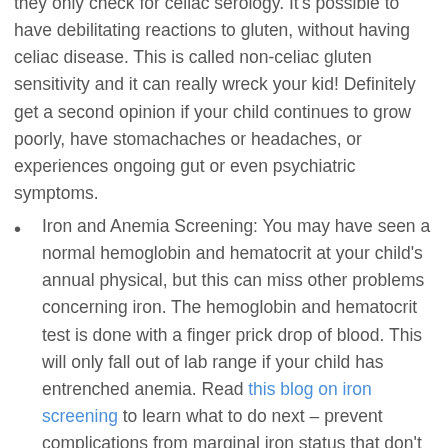they only check for celiac serology. It's possible to have debilitating reactions to gluten, without having celiac disease. This is called non-celiac gluten sensitivity and it can really wreck your kid! Definitely get a second opinion if your child continues to grow poorly, have stomachaches or headaches, or experiences ongoing gut or even psychiatric symptoms.
Iron and Anemia Screening: You may have seen a normal hemoglobin and hematocrit at your child's annual physical, but this can miss other problems concerning iron. The hemoglobin and hematocrit test is done with a finger prick drop of blood. This will only fall out of lab range if your child has entrenched anemia. Read this blog on iron screening to learn what to do next – prevent complications from marginal iron status that don't show up with the fingerstick test.